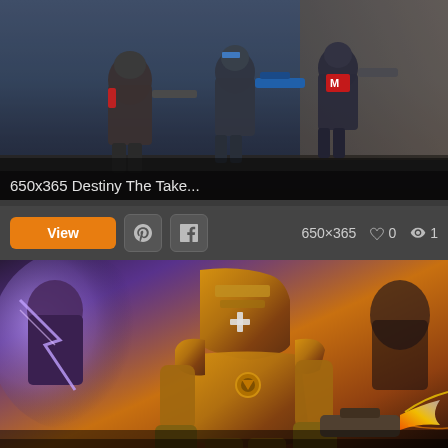[Figure (screenshot): Destiny The Taken King game artwork showing three armored guardian characters with weapons in a dark sci-fi environment]
650x365 Destiny The Take...
View  [Pinterest icon]  [Facebook icon]  650×365  ♡ 0  👁 1
[Figure (screenshot): Titan character from Destiny The Taken King, heavily armored warrior with golden/bronze armor and fire effects in background]
620x390 Titan Destiny The ...